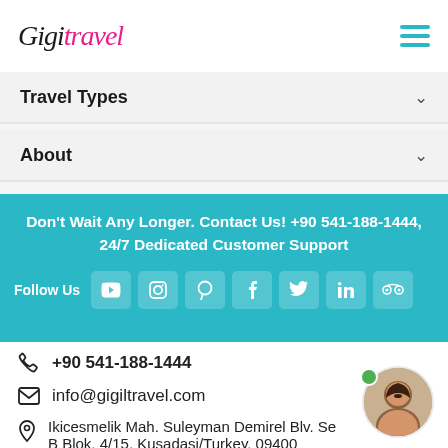Gigil Travel
Travel Types
About
Don't Wait Any Longer. Contact Us! +90 541-188-1444, 24/7 Dedicated Customer Support
Follow Us
+90 541-188-1444
info@gigiltravel.com
Ikicesmelik Mah. Suleyman Demirel Blv. Se B Blok, 4/15, Kusadasi/Turkey, 09400